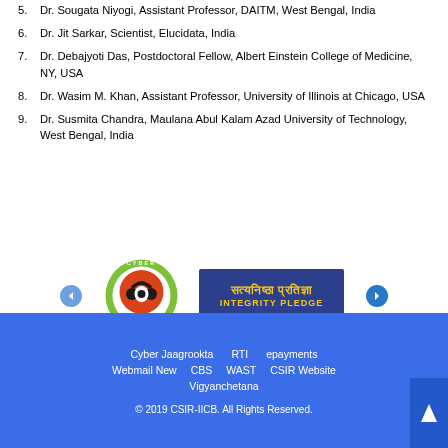5. Dr. Sougata Niyogi, Assistant Professor, DAITM, West Bengal, India
6. Dr. Jit Sarkar, Scientist, Elucidata, India
7. Dr. Debajyoti Das, Postdoctoral Fellow, Albert Einstein College of Medicine, NY, USA
8. Dr. Wasim M. Khan, Assistant Professor, University of Illinois at Chicago, USA
9. Dr. Susmita Chandra, Maulana Abul Kalam Azad University of Technology, West Bengal, India
[Figure (logo): Cyber Dost circular badge with shield and headphones logo]
[Figure (logo): Integrity Pledge blue box with Hindi and English text]
Cyber Jaagrookta  RTI  epayments  Webmail New  CBS  WAST  CSIR Website  Vigyanchetana  © 2019 CSIR-IICB. All Rights Reserved.